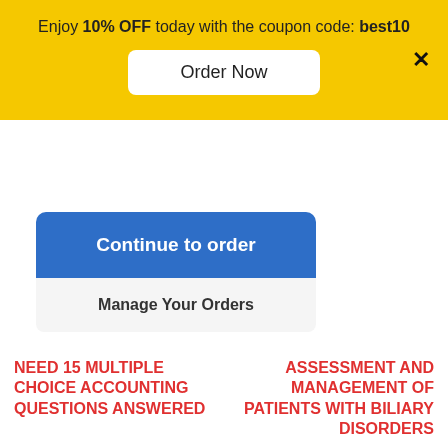Enjoy 10% OFF today with the coupon code: best10
Order Now
×
Continue to order
Manage Your Orders
NEED 15 MULTIPLE CHOICE ACCOUNTING QUESTIONS ANSWERED
ASSESSMENT AND MANAGEMENT OF PATIENTS WITH BILIARY DISORDERS